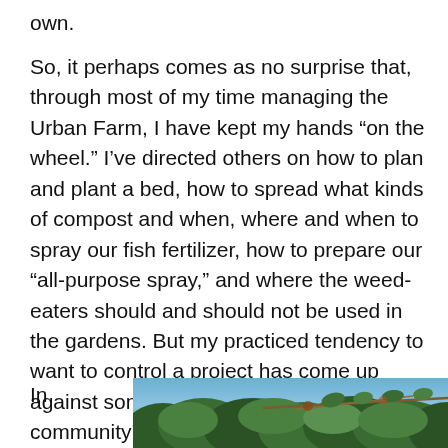own.
So, it perhaps comes as no surprise that, through most of my time managing the Urban Farm, I have kept my hands “on the wheel.” I’ve directed others on how to plan and plant a bed, how to spread what kinds of compost and when, where and when to spray our fish fertilizer, how to prepare our “all-purpose spray,” and where the weed-eaters should and should not be used in the gardens. But my practiced tendency to want to control a project has come up against something more fundamental: our community’s commitment to sharing power and trusting directly affected people to do the work.
In
our
wor
[Figure (photo): Photograph of green leafy tree branches and foliage against a blue sky background]